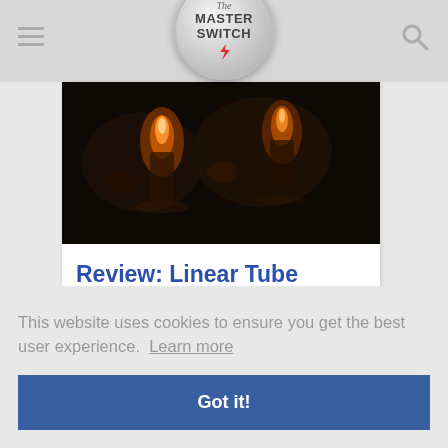The Master Switch
[Figure (photo): Close-up photo of glowing vacuum tubes with warm orange/amber light against a dark background]
Review: Linear Tube Audio MZ2-S
This website uses cookies to ensure you get the best user experience.  Learn more
Got it!